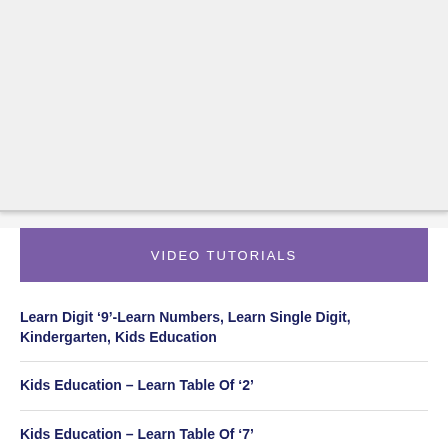[Figure (other): Gray/light background area representing a video or image placeholder at top of page]
VIDEO TUTORIALS
Learn Digit ‘9’-Learn Numbers, Learn Single Digit, Kindergarten, Kids Education
Kids Education – Learn Table Of ‘2’
Kids Education – Learn Table Of ‘7’